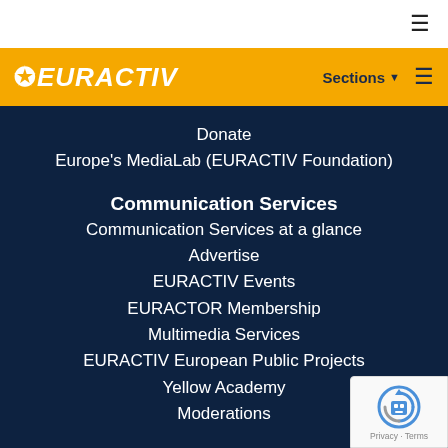≡
[Figure (logo): EURACTIV logo with star on gold/yellow background, with Sections menu and hamburger icon]
Donate
Europe's MediaLab (EURACTIV Foundation)
Communication Services
Communication Services at a glance
Advertise
EURACTIV Events
EURACTOR Membership
Multimedia Services
EURACTIV European Public Projects
Yellow Academy
Moderations
JobSite, EU Services, Agenda & PR
Post A Job
Latest Jobs
Latest Calls
[Figure (other): reCAPTCHA widget with robot icon and Privacy/Terms links]